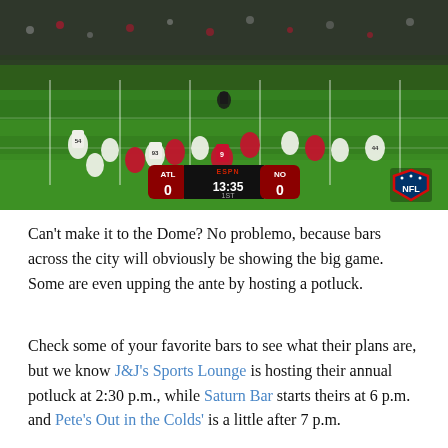[Figure (photo): NFL football game photo showing players on the field, Atlanta Falcons vs New Orleans Saints, with ESPN scoreboard showing ATL 0, NO 0, 13:35 1ST quarter, and NFL shield logo in bottom right]
Can't make it to the Dome? No problemo, because bars across the city will obviously be showing the big game. Some are even upping the ante by hosting a potluck.
Check some of your favorite bars to see what their plans are, but we know J&J's Sports Lounge is hosting their annual potluck at 2:30 p.m., while Saturn Bar starts theirs at 6 p.m. and Pete's Out in the Colds' is a little after 7 p.m.